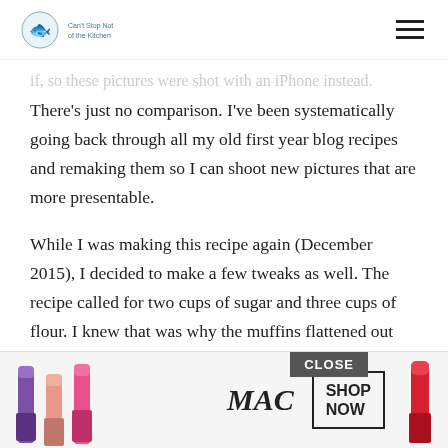[Blog logo] [hamburger menu icon]
if, so these pictures were shot with an iPhone instead. There's just no comparison. I've been systematically going back through all my old first year blog recipes and remaking them so I can shoot new pictures that are more presentable.
While I was making this recipe again (December 2015), I decided to make a few tweaks as well. The recipe called for two cups of sugar and three cups of flour. I knew that was why the muffins flattened out and dropped rather than holding a beautiful muffin topper shape.
I adjusted the recipe by decreasing the sugar by 1/2 cup and increasing the flour by 1/2 cup. Then I sta... recip... this highe... e to
[Figure (advertisement): MAC cosmetics advertisement with lipsticks, MAC logo, and SHOP NOW button with CLOSE overlay button]